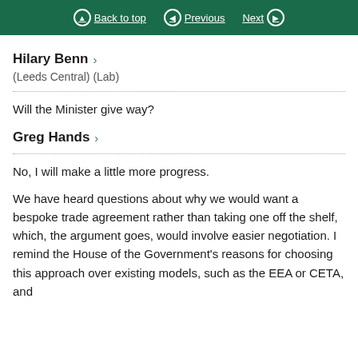Back to top | Previous | Next
Hilary Benn
(Leeds Central) (Lab)
Will the Minister give way?
Greg Hands
No, I will make a little more progress.
We have heard questions about why we would want a bespoke trade agreement rather than taking one off the shelf, which, the argument goes, would involve easier negotiation. I remind the House of the Government's reasons for choosing this approach over existing models, such as the EEA or CETA, and